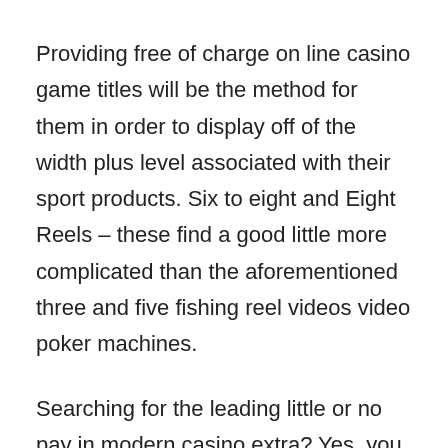Providing free of charge on line casino game titles will be the method for them in order to display off of the width plus level associated with their sport products. Six to eight and Eight Reels – these find a good little more complicated than the aforementioned three and five fishing reel videos video poker machines.
Searching for the leading little or no pay in modern casino extra? Yes, you will carry out any of your preferred specific funds game titles via your unit seeing that long seeing that the webpage offers you an important responsive webpage as well as an important local app. All of the port appliance game titles are on the market for income take up at the most beneficial